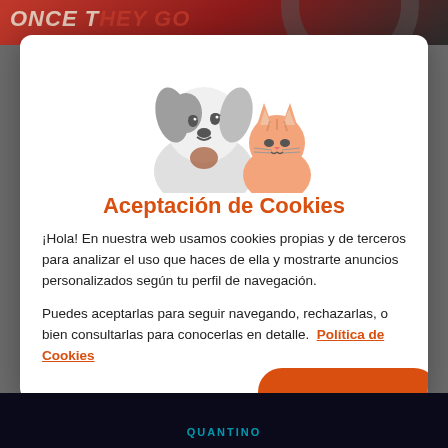[Figure (illustration): Background image top: movie poster text 'ONCE THEY GO...' in bold italic red/cream letters on dark background with partial circular graphic]
[Figure (illustration): Cute cartoon dog (white and gray, happy expression, brown spot on chest) and cat (orange tabby, sitting beside dog, smiling) on white modal background]
Aceptación de Cookies
¡Hola! En nuestra web usamos cookies propias y de terceros para analizar el uso que haces de ella y mostrarte anuncios personalizados según tu perfil de navegación.
Puedes aceptarlas para seguir navegando, rechazarlas, o bien consultarlas para conocerlas en detalle. Política de Cookies
[Figure (illustration): Background image bottom: dark blue/black background with cyan colored text 'QUANTINO' or similar movie/show title]